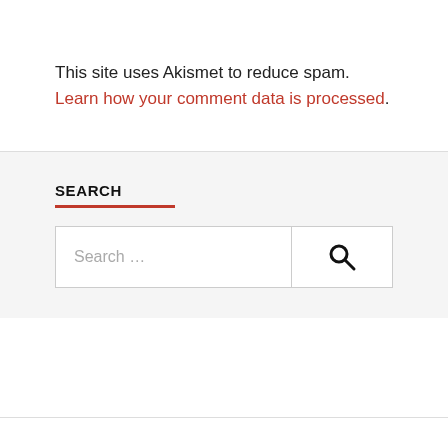This site uses Akismet to reduce spam. Learn how your comment data is processed.
SEARCH